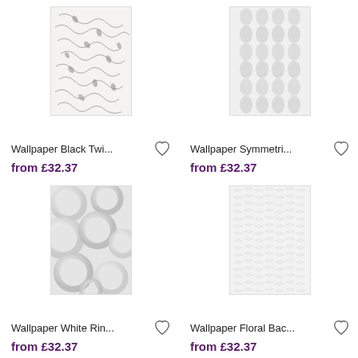[Figure (illustration): Wallpaper Black Twigs pattern — fine dark vine/leaf lines on white/light grey background]
Wallpaper Black Twi...
from £32.37
[Figure (illustration): Wallpaper Symmetri... pattern — repeating grey leaf/petal shapes in a grid on white background]
Wallpaper Symmetri...
from £32.37
[Figure (illustration): Wallpaper White Rin... pattern — overlapping 3D white rings/circles on light grey background]
Wallpaper White Rin...
from £32.37
[Figure (illustration): Wallpaper Floral Bac... pattern — dense fine floral/lace-like white texture on light background]
Wallpaper Floral Bac...
from £32.37